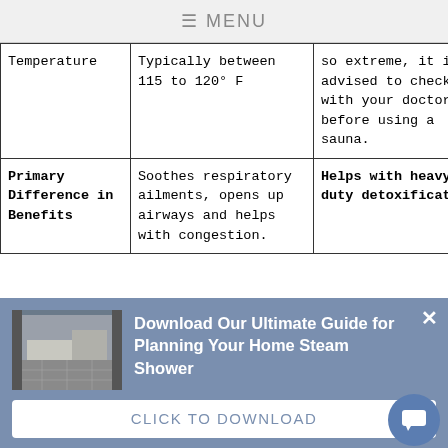≡ MENU
| Temperature | Typically between 115 to 120° F | so extreme, it is advised to check with your doctor before using a sauna. |
| Primary Difference in Benefits | Soothes respiratory ailments, opens up airways and helps with congestion. | Helps with heavy duty detoxification. |
[Figure (infographic): Pop-up banner overlay with blue-grey background. Contains small bathroom/steam shower photo thumbnail on the left, bold white text 'Download Our Ultimate Guide for Planning Your Home Steam Shower', a close X button top right, and a white button below reading 'CLICK TO DOWNLOAD'. A round chat button appears bottom right.]